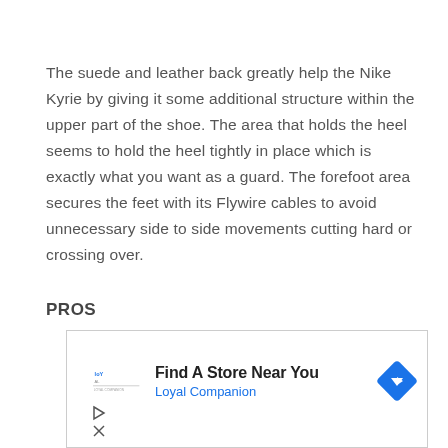The suede and leather back greatly help the Nike Kyrie by giving it some additional structure within the upper part of the shoe. The area that holds the heel seems to hold the heel tightly in place which is exactly what you want as a guard. The forefoot area secures the feet with its Flywire cables to avoid unnecessary side to side movements cutting hard or crossing over.
PROS
[Figure (other): Advertisement banner: Find A Store Near You - Loyal Companion, with logo and navigation arrow icon]